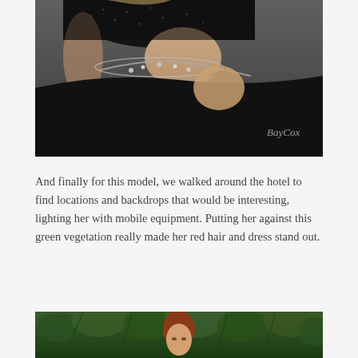[Figure (photo): Close-up photo of a model in a black sequined two-piece dress showing midriff, with jeweled belt detail, against a gray studio backdrop. Photographer watermark in lower right corner.]
And finally for this model, we walked around the hotel to find locations and backdrops that would be interesting, lighting her with mobile equipment. Putting her against this green vegetation really made her red hair and dress stand out.
[Figure (photo): Photo of a model with red hair against a green vegetation/foliage backdrop, partially visible at bottom of page.]